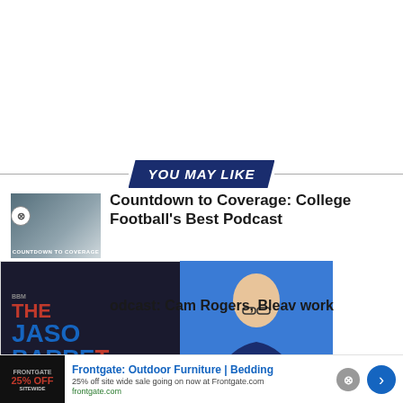YOU MAY LIKE
Countdown to Coverage: College Football's Best Podcast
[Figure (photo): Thumbnail for Countdown to Coverage podcast with show logo and host silhouette]
[Figure (photo): The Jason Barrett Podcast promotional image with red and blue text on dark background]
[Figure (photo): Paul Finebaum Knows The Power podcast image with man in suit and red banner]
odcast: Cam Rogers, Bleav work
Frontgate: Outdoor Furniture | Bedding
25% off site wide sale going on now at Frontgate.com
frontgate.com